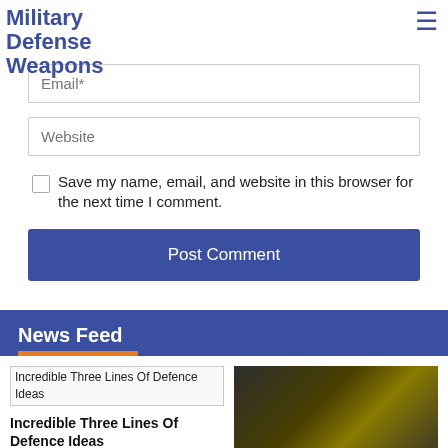Military Defense Weapons
Email*
Website
Save my name, email, and website in this browser for the next time I comment.
Post Comment
News Feed
[Figure (screenshot): Broken image placeholder for 'Incredible Three Lines Of Defence Ideas']
Incredible Three Lines Of Defence Ideas
[Figure (screenshot): Game screenshot showing a top-down strategy game with units on a sandy map with green targeting circles]